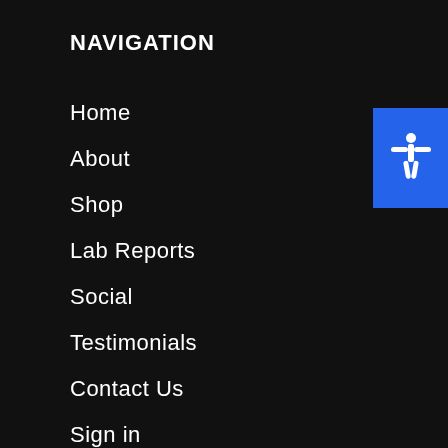NAVIGATION
Home
About
Shop
Lab Reports
Social
Testimonials
Contact Us
Sign in
Investors
Affiliate Program
Franchise Opportunities
[Figure (illustration): Blue accessibility icon button showing a white human figure with arms outstretched in a star pose]